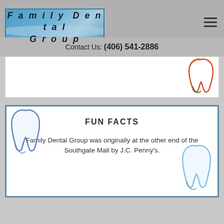[Figure (logo): Family Dental Group logo with teal/blue gradient background and italic bold text]
Contact Us: (406) 541-2886
[Figure (illustration): Colorful tooth illustration (red/orange and green) on white banner background]
FUN FACTS
Family Dental Group was originally at the other end of the Southgate Mall by J.C. Penny's.
[Figure (illustration): Blue tooth illustration on left side of fun facts box]
[Figure (illustration): Light blue tooth illustration on right side of fun facts box]